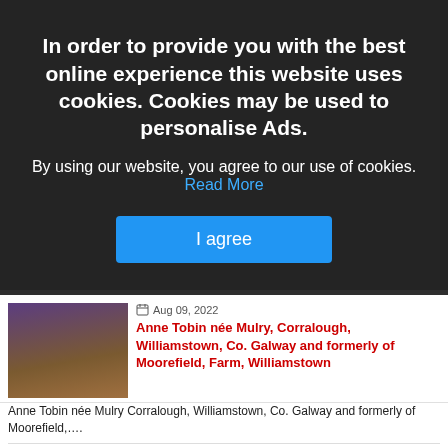In order to provide you with the best online experience this website uses cookies. Cookies may be used to personalise Ads. By using our website, you agree to our use of cookies. Read More
I agree
[Figure (photo): Photo of an elderly woman in a purple jacket with a flower brooch]
Aug 09, 2022
Anne Tobin née Mulry, Corralough, Williamstown, Co. Galway and formerly of Moorefield, Farm, Williamstown
Anne Tobin née Mulry Corralough, Williamstown, Co. Galway and formerly of Moorefield,….
[Figure (photo): Photo of a man outdoors with foliage in the background]
Aug 09, 2022
P.J. Judge (better known as P), Carracrum, Bonniconlon, Ballina, Co. Mayo